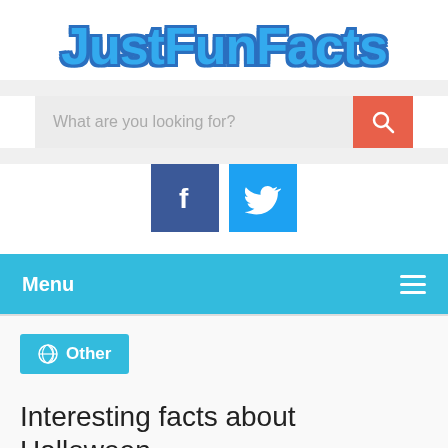[Figure (logo): JustFunFacts logo in bold blue text with darker blue outline/shadow]
[Figure (screenshot): Search bar with placeholder text 'What are you looking for?' and an orange search button with magnifying glass icon]
[Figure (screenshot): Social media icons: Facebook (dark blue) and Twitter (light blue) square buttons]
Menu
Other
Interesting facts about Halloween
10 Months Ago   No Comments